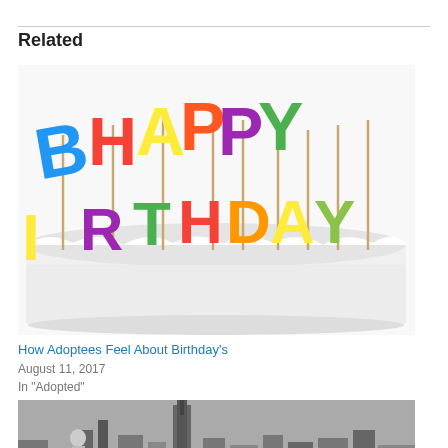Related
[Figure (photo): Birthday cake with colorful letter candles spelling HAPPY BIRTHDAY on white frosting, white background]
How Adoptees Feel About Birthday's
August 11, 2017
In "Adopted"
[Figure (photo): Black and white cityscape of New York with a child overlooking the skyline, with colorful pink cursive text 'Adoptee' overlaid]